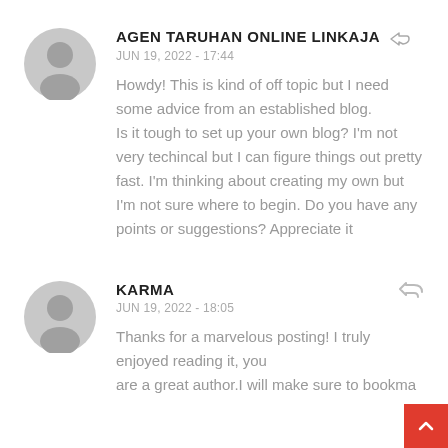AGEN TARUHAN ONLINE LINKAJA
JUN 19, 2022 - 17:44
Howdy! This is kind of off topic but I need some advice from an established blog. Is it tough to set up your own blog? I'm not very techincal but I can figure things out pretty fast. I'm thinking about creating my own but I'm not sure where to begin. Do you have any points or suggestions? Appreciate it
KARMA
JUN 19, 2022 - 18:05
Thanks for a marvelous posting! I truly enjoyed reading it, you are a great author.I will make sure to bookma